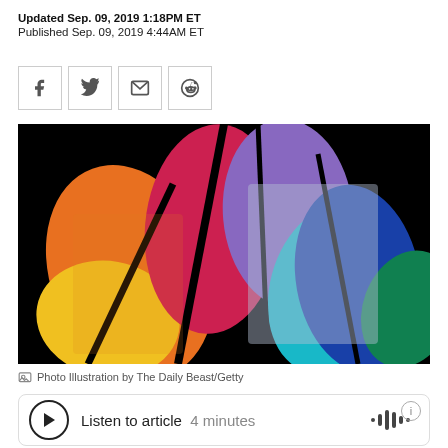Updated Sep. 09, 2019 1:18PM ET
Published Sep. 09, 2019 4:44AM ET
[Figure (other): Social share buttons: Facebook, Twitter, Email, Reddit]
[Figure (photo): Photo illustration showing faces composited into NBC peacock logo shapes, colorized in orange, pink/red, purple, blue, cyan, green, yellow on black background]
Photo Illustration by The Daily Beast/Getty
Listen to article  4 minutes